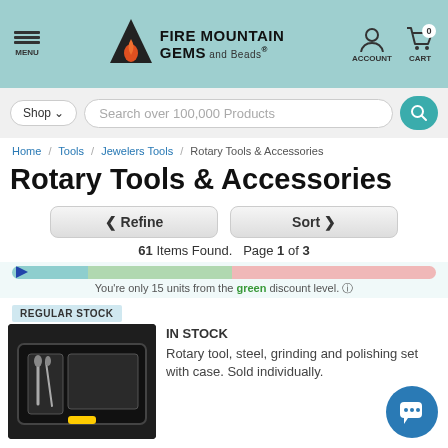Fire Mountain Gems and Beads - MENU ACCOUNT CART 0
Shop ∨  Search over 100,000 Products
Home / Tools / Jewelers Tools / Rotary Tools & Accessories
Rotary Tools & Accessories
< Refine   Sort >
61 Items Found.  Page 1 of 3
You're only 15 units from the green discount level. ?
REGULAR STOCK
IN STOCK
Rotary tool, steel, grinding and polishing set with case. Sold individually.